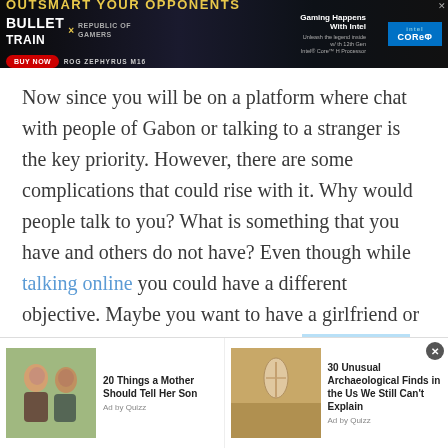[Figure (screenshot): Top banner advertisement for ROG Zephyrus M16 - Bullet Train x Republic of Gamers promotion with Intel Core branding. Text: OUTSMART YOUR OPPONENTS, BULLET TRAIN x REPUBLIC OF GAMERS, BUY NOW, ROG ZEPHYRUS M16, Gaming Happens With Intel, Intel CORE]
Now since you will be on a platform where chat with people of Gabon or talking to a stranger is the key priority. However, there are some complications that could rise with it. Why would people talk to you? What is something that you have and others do not have? Even though while talking online you could have a different objective. Maybe you want to have a girlfriend or a boyfriend for yourself, or maybe you just want to grow your social network. However for
[Figure (screenshot): Bottom advertisement strip showing two sponsored content items: '20 Things a Mother Should Tell Her Son' and '30 Unusual Archaeological Finds in the Us We Still Can't Explain', both by Quizz]